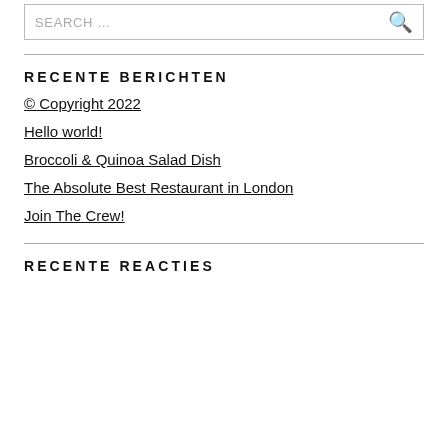SEARCH …
RECENTE BERICHTEN
© Copyright 2022
Hello world!
Broccoli & Quinoa Salad Dish
The Absolute Best Restaurant in London
Join The Crew!
RECENTE REACTIES